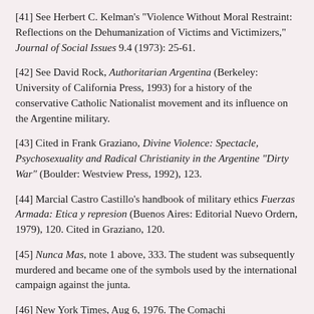[41] See Herbert C. Kelman's "Violence Without Moral Restraint: Reflections on the Dehumanization of Victims and Victimizers," Journal of Social Issues 9.4 (1973): 25-61.
[42] See David Rock, Authoritarian Argentina (Berkeley: University of California Press, 1993) for a history of the conservative Catholic Nationalist movement and its influence on the Argentine military.
[43] Cited in Frank Graziano, Divine Violence: Spectacle, Psychosexuality and Radical Christianity in the Argentine "Dirty War" (Boulder: Westview Press, 1992), 123.
[44] Marcial Castro Castillo's handbook of military ethics Fuerzas Armada: Etica y represion (Buenos Aires: Editorial Nuevo Ordern, 1979), 120. Cited in Graziano, 120.
[45] Nunca Mas, note 1 above, 333. The student was subsequently murdered and became one of the symbols used by the international campaign against the junta.
[46] New York Times, Aug 6, 1976. The Comachi...